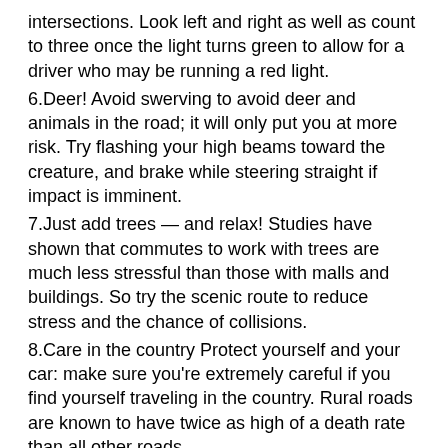intersections. Look left and right as well as count to three once the light turns green to allow for a driver who may be running a red light.
6.Deer! Avoid swerving to avoid deer and animals in the road; it will only put you at more risk. Try flashing your high beams toward the creature, and brake while steering straight if impact is imminent.
7.Just add trees — and relax! Studies have shown that commutes to work with trees are much less stressful than those with malls and buildings. So try the scenic route to reduce stress and the chance of collisions.
8.Care in the country Protect yourself and your car: make sure you're extremely careful if you find yourself traveling in the country. Rural roads are known to have twice as high of a death rate than all other roads.
9.Be aware of recalls Have there been any recalls posted about your vehicle? Are you sure about that? It's smart to just double-check.
10.Signs of brake failure These include: the brake pedal becoming soft and mushy; the brake pedal is hard and